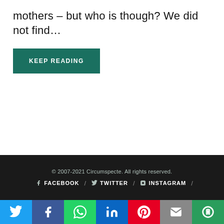mothers – but who is though? We did not find...
KEEP READING
© 2007-2021 Circumspecte. All rights reserved.
FACEBOOK / TWITTER / INSTAGRAM /
[Figure (infographic): Social sharing bar with icons for Twitter (blue), Facebook (dark blue), WhatsApp (green), LinkedIn (blue), Pinterest (red), Email (grey), More (green)]